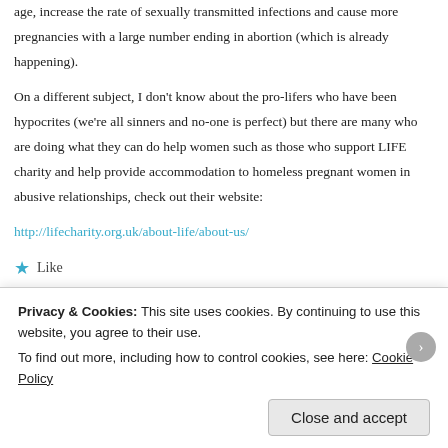age, increase the rate of sexually transmitted infections and cause more pregnancies with a large number ending in abortion (which is already happening).
On a different subject, I don't know about the pro-lifers who have been hypocrites (we're all sinners and no-one is perfect) but there are many who are doing what they can do help women such as those who support LIFE charity and help provide accommodation to homeless pregnant women in abusive relationships, check out their website:
http://lifecharity.org.uk/about-life/about-us/
★ Like
Emma   July 8, 2014 at 12:07 am · Reply →
Privacy & Cookies: This site uses cookies. By continuing to use this website, you agree to their use. To find out more, including how to control cookies, see here: Cookie Policy
Close and accept